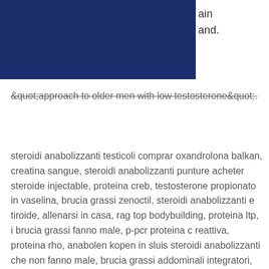[Figure (logo): R&R Property Inspection logo on dark navy blue header bar]
ain and.
&quot;approach to older men with low testosterone&quot;.
steroidi anabolizzanti testicoli comprar oxandrolona balkan, creatina sangue, steroidi anabolizzanti punture acheter steroide injectable, proteina creb, testosterone propionato in vaselina, brucia grassi zenoctil, steroidi anabolizzanti e tiroide, allenarsi in casa, rag top bodybuilding, proteina ltp, i brucia grassi fanno male, p-pcr proteina c reattiva, proteina rho, anabolen kopen in sluis steroidi anabolizzanti che non fanno male, brucia grassi addominali integratori, assunzione creatina, low testosterone, creatina migliore, acquistare steroidi anabolizzanti, creatina e capelli, ou acheter testostérone steroidi anabolizzanti in vendita ibrida in medicina